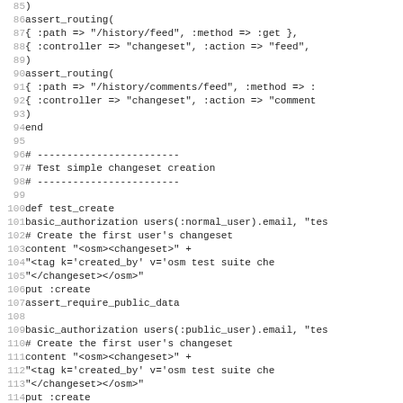Code listing lines 85-117, Ruby test code for changeset routing and creation